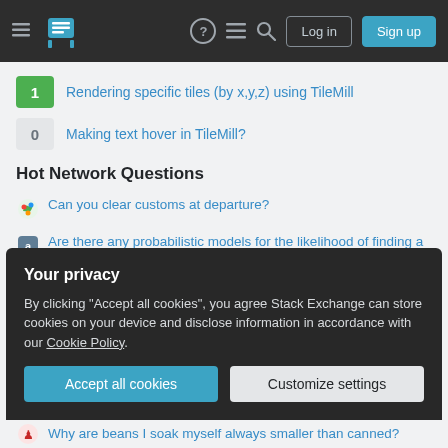Stack Exchange navigation header with Log in and Sign up buttons
1 — Rendering specific tiles (by x,y,z) using TileMill
0 — Making text hover in TileMill?
Hot Network Questions
Can you clear customs at departure?
Are there any probabilistic models for the likelihood of finding a rogue planet closer to us than Proxima Centauri?
Why is Manchin the only Democratic Senator leveraging the 50/50 vote split for the benefit of their state?
Program never goes into interrupt
Your privacy
By clicking "Accept all cookies", you agree Stack Exchange can store cookies on your device and disclose information in accordance with our Cookie Policy.
Why are beans I soak myself always smaller than canned?